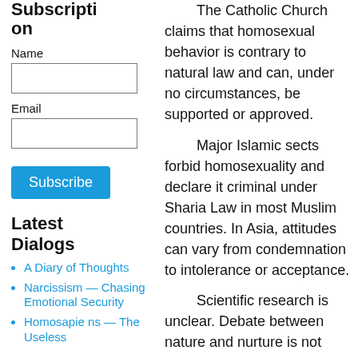Subscription
Name
Email
Subscribe
Latest Dialogs
A Diary of Thoughts
Narcissism — Chasing Emotional Security
Homosapiens — The Useless
The Catholic Church claims that homosexual behavior is contrary to natural law and can, under no circumstances, be supported or approved.
Major Islamic sects forbid homosexuality and declare it criminal under Sharia Law in most Muslim countries. In Asia, attitudes can vary from condemnation to intolerance or acceptance.
Scientific research is unclear. Debate between nature and nurture is not resolved. However, general opinion leans and seems to favor biology, meaning homosexuality and sexual orientation is not a selected and “immoral” lifestyle, but has its roots in biological